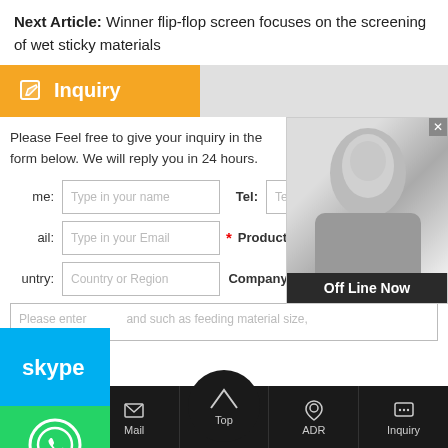Next Article: Winner flip-flop screen focuses on the screening of wet sticky materials
Inquiry
Please Feel free to give your inquiry in the form below. We will reply you in 24 hours.
[Figure (screenshot): Inquiry web form with fields: Name, Tel, Email, Products, Country, Company, and a message area. Side social buttons for Skype and WhatsApp. A chat widget showing a woman with headset and 'Off Line Now' status.]
Tel | Mail | Top | ADR | Inquiry